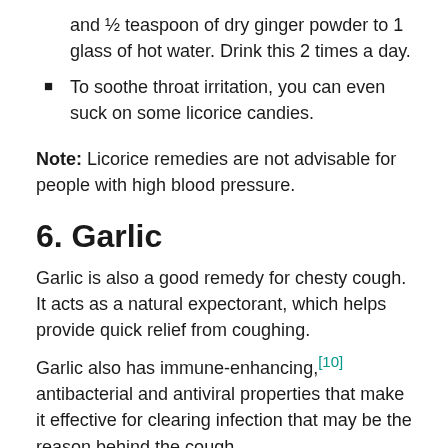and ½ teaspoon of dry ginger powder to 1 glass of hot water. Drink this 2 times a day.
To soothe throat irritation, you can even suck on some licorice candies.
Note: Licorice remedies are not advisable for people with high blood pressure.
6. Garlic
Garlic is also a good remedy for chesty cough. It acts as a natural expectorant, which helps provide quick relief from coughing.
Garlic also has immune-enhancing,[10] antibacterial and antiviral properties that make it effective for clearing infection that may be the reason behind the cough.
Eat one clove of garlic mixed with some...